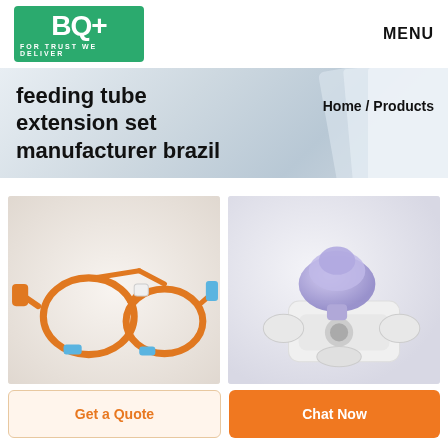[Figure (logo): BQ+ logo with green background and tagline FOR TRUST WE DELIVER]
MENU
[Figure (photo): Banner with light blue/grey gradient background]
feeding tube extension set manufacturer brazil
Home / Products
[Figure (photo): Orange feeding tube extension set coiled on white background]
[Figure (photo): Purple/transparent medical connector fitting on white background]
Get a Quote
Chat Now